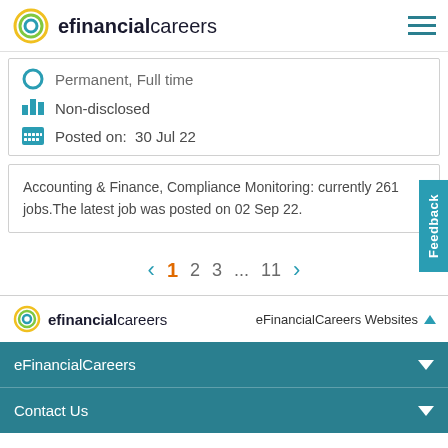efinancialcareers
Permanent, Full time
Non-disclosed
Posted on:  30 Jul 22
Accounting & Finance, Compliance Monitoring: currently 261 jobs.The latest job was posted on 02 Sep 22.
1 2 3 ... 11
eFinancialCareers Websites
eFinancialCareers
Contact Us